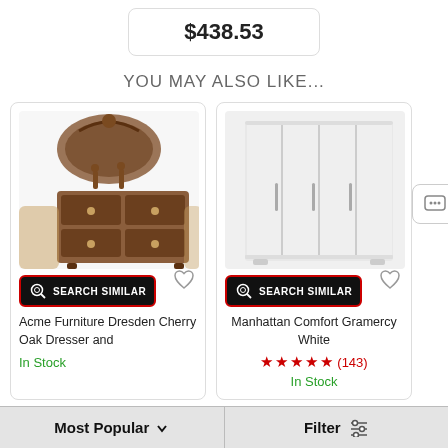$438.53
YOU MAY ALSO LIKE...
[Figure (photo): Acme Furniture Dresden Cherry Oak Dresser and mirror - ornate dark wood dresser with large decorative mirror]
SEARCH SIMILAR
Acme Furniture Dresden Cherry Oak Dresser and
In Stock
[Figure (photo): Manhattan Comfort Gramercy White wardrobe - modern white wardrobe with four doors and vertical handles]
SEARCH SIMILAR
Manhattan Comfort Gramercy White
(143)
In Stock
Most Popular
Filter